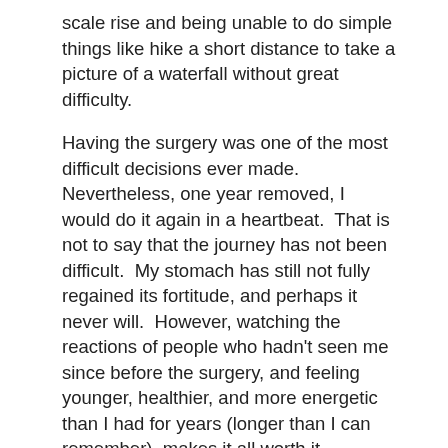scale rise and being unable to do simple things like hike a short distance to take a picture of a waterfall without great difficulty.
Having the surgery was one of the most difficult decisions ever made.  Nevertheless, one year removed, I would do it again in a heartbeat.  That is not to say that the journey has not been difficult.  My stomach has still not fully regained its fortitude, and perhaps it never will.  However, watching the reactions of people who hadn't seen me since before the surgery, and feeling younger, healthier, and more energetic than I had for years (longer than I can remember), makes it all worth it.
I am no longer ashamed that I sought out medical intervention to help with my weight loss journey.  As I was counseled in the beginning, the surgery is not a panacea, but is instead a tool.  It has been an incredibly useful tool,